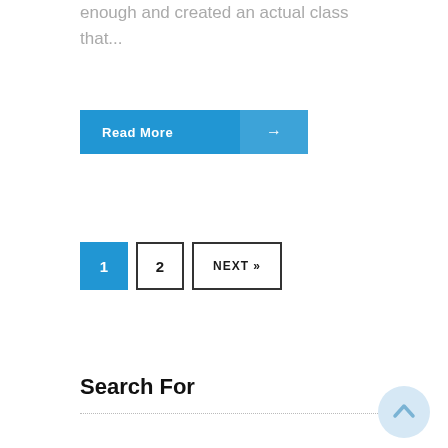enough and created an actual class that...
Read More →
1  2  NEXT »
Search For